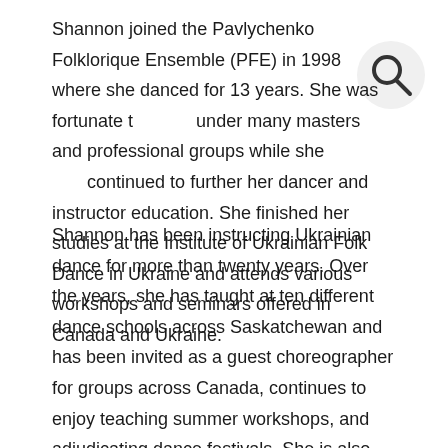Shannon joined the Pavlychenko Folklorique Ensemble (PFE) in 1998 where she danced for 13 years. She was fortunate to study under many masters and professional groups while she continued to further her dancer and instructor education. She finished her studies at the Institute of Ukrainian Folk Dance in Ukraine and attends various workshops and seminars offered in Canada and Ukraine.
Shannon has been instructing Ukrainian dance for more than twenty years. Over the years, she has taught at ten different dance schools across Saskatchewan and has been invited as a guest choreographer for groups across Canada, continues to enjoy teaching summer workshops, and adjudicating dance festivals. She is also co-founder of Rodovid Academy of Ukrainian Dance. The Rodovid Academy of Dance looks to bring Ukrainian dancers, instructors, choreographers, and repetitors together in a way that has never been done before, offering 5-star instruction with incredibly talented dance masters